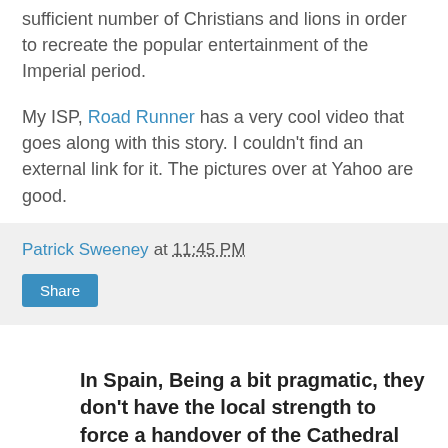sufficient number of Christians and lions in order to recreate the popular entertainment of the Imperial period.
My ISP, Road Runner has a very cool video that goes along with this story. I couldn't find an external link for it. The pictures over at Yahoo are good.
Patrick Sweeney at 11:45 PM
Share
In Spain, Being a bit pragmatic, they don't have the local strength to force a handover of the Cathedral yet.
Islam Online: We Didn't Ask Vatican To Pray At Cathedral: Spanish Imam
The Islamic Cultural Center of Madrid (ICCM), Spain's largest Islamic